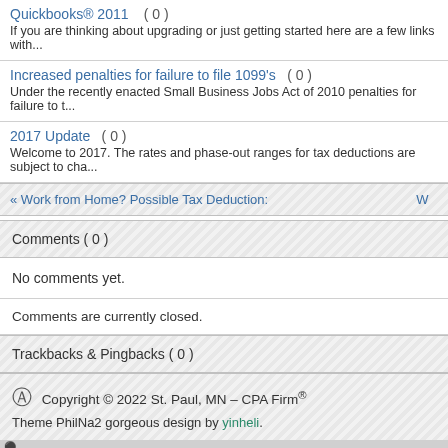Quickbooks® 2011    ( 0 )
If you are thinking about upgrading or just getting started here are a few links with...
Increased penalties for failure to file 1099's    ( 0 )
Under the recently enacted Small Business Jobs Act of 2010 penalties for failure to t...
2017 Update    ( 0 )
Welcome to 2017. The rates and phase-out ranges for tax deductions are subject to cha...
« Work from Home? Possible Tax Deduction:    W
Comments ( 0 )
No comments yet.
Comments are currently closed.
Trackbacks & Pingbacks ( 0 )
Copyright © 2022 St. Paul, MN – CPA Firm®
Theme PhilNa2 gorgeous design by yinheli.